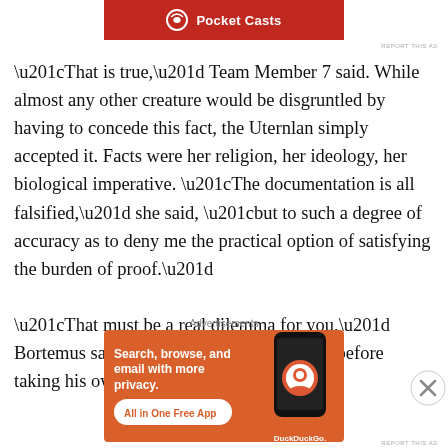[Figure (screenshot): Pocket Casts advertisement banner, red background with white Pocket Casts logo and text]
“That is true,” Team Member 7 said. While almost any other creature would be disgruntled by having to concede this fact, the Uternlan simply accepted it. Facts were her religion, her ideology, her biological imperative. “The documentation is all falsified,” she said, “but to such a degree of accuracy as to deny me the practical option of satisfying the burden of proof.”
“That must be a real dilemma for you,” Bortemus said, and ushered Volun to a seat before taking his own. Each of th…
Advertisements
[Figure (screenshot): DuckDuckGo advertisement banner, orange background with text: Search, browse, and email with more privacy. All in One Free App. Shows a phone with DuckDuckGo logo.]